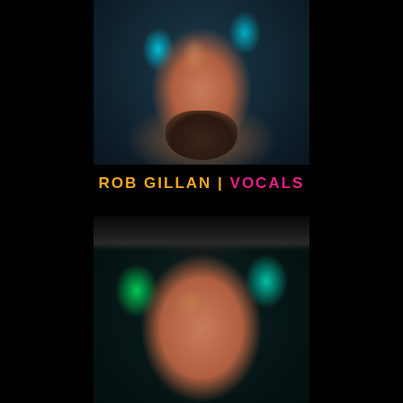[Figure (photo): Close-up photo of a bearded man with teal/blue lighting, upper half of face visible]
ROB GILLAN | VOCALS
[Figure (photo): Close-up photo of a man wearing a backwards black cap, lit with green/teal lighting]